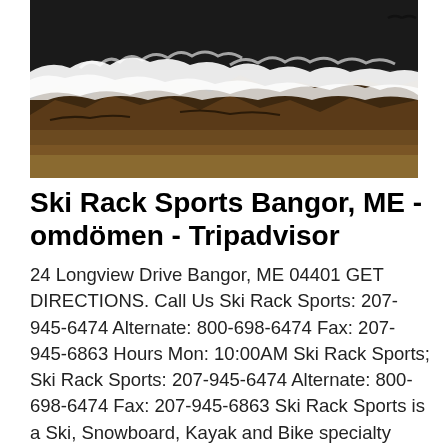[Figure (photo): Aerial view of ocean waves crashing against a rocky shoreline, with white foam and dark rocks visible]
Ski Rack Sports Bangor, ME - omdömen - Tripadvisor
24 Longview Drive Bangor, ME 04401 GET DIRECTIONS. Call Us Ski Rack Sports: 207-945-6474 Alternate: 800-698-6474 Fax: 207-945-6863 Hours Mon: 10:00AM Ski Rack Sports; Ski Rack Sports: 207-945-6474 Alternate: 800-698-6474 Fax: 207-945-6863 Ski Rack Sports is a Ski, Snowboard, Kayak and Bike specialty shop located in Bangor, Maine. We have been guiding customers in their